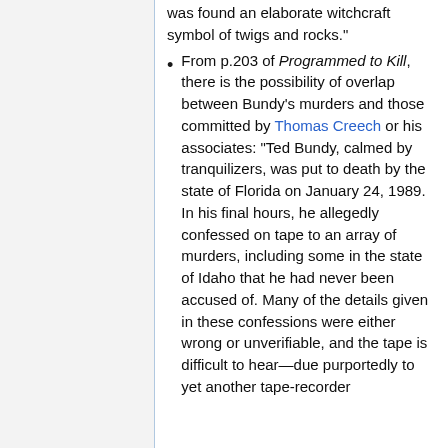was found an elaborate witchcraft symbol of twigs and rocks."
From p.203 of Programmed to Kill, there is the possibility of overlap between Bundy's murders and those committed by Thomas Creech or his associates: "Ted Bundy, calmed by tranquilizers, was put to death by the state of Florida on January 24, 1989. In his final hours, he allegedly confessed on tape to an array of murders, including some in the state of Idaho that he had never been accused of. Many of the details given in these confessions were either wrong or unverifiable, and the tape is difficult to hear—due purportedly to yet another tape-recorder